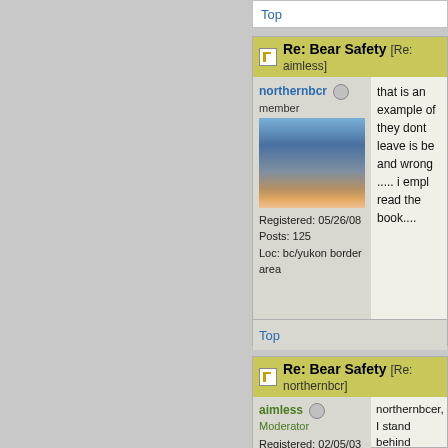Top
Re: Bear Safety [Re: aimless]
northernbcr
member
Registered: 05/26/08
Posts: 125
Loc: bc/yukon border area
that is an example of they dont leave is be and wrong ..... i empl read the book....
Top
Re: Bear Safety [Re: northernbcr]
aimless
Moderator
Registered: 02/05/03
Posts: 3240
Loc: Portland, OR
northernbcer, I stand behind ancounters end safely. That that did not end safely. If yo I will retract it.

Even if there were a 500% i increase would barely budg

That much said, I would be